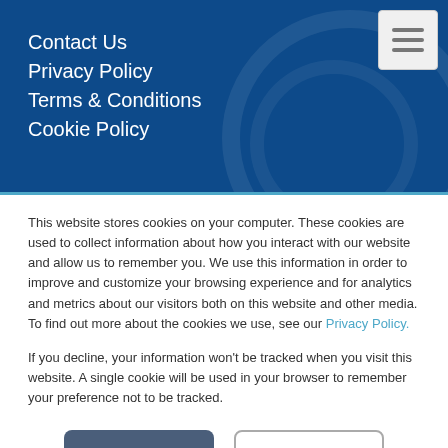Contact Us
Privacy Policy
Terms & Conditions
Cookie Policy
This website stores cookies on your computer. These cookies are used to collect information about how you interact with our website and allow us to remember you. We use this information in order to improve and customize your browsing experience and for analytics and metrics about our visitors both on this website and other media. To find out more about the cookies we use, see our Privacy Policy.
If you decline, your information won't be tracked when you visit this website. A single cookie will be used in your browser to remember your preference not to be tracked.